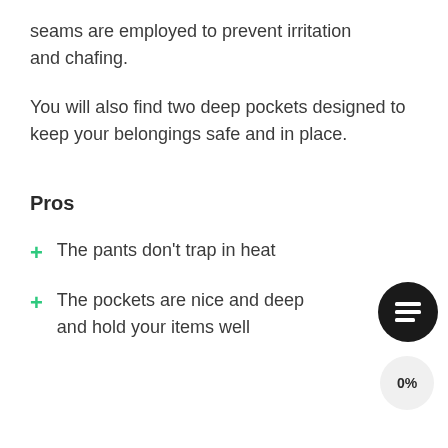seams are employed to prevent irritation and chafing.
You will also find two deep pockets designed to keep your belongings safe and in place.
Pros
The pants don’t trap in heat
The pockets are nice and deep and hold your items well